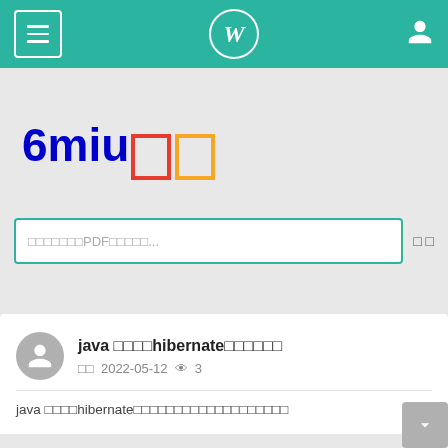Navigation bar with menu icon, W logo, and user icon
6miu□□
Search box: □□□□□□□PDF□□□□□... □□
java □□□□hibernate□□□□□□  □□ 2022-05-12 👁 3
java □□□□hibernate□□□□□□□□□□□□□□□□□□□